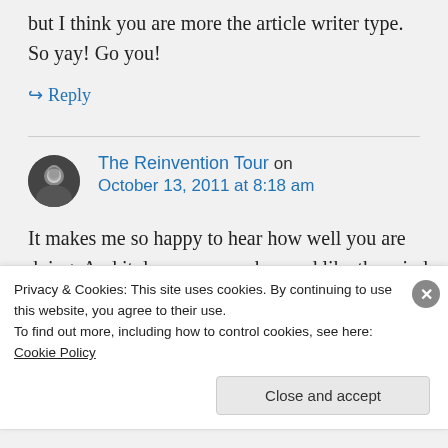but I think you are more the article writer type. So yay! Go you!
↪ Reply
The Reinvention Tour on October 13, 2011 at 8:18 am
It makes me so happy to hear how well you are doing. And it does very much sound like the mind and
Privacy & Cookies: This site uses cookies. By continuing to use this website, you agree to their use. To find out more, including how to control cookies, see here: Cookie Policy
Close and accept